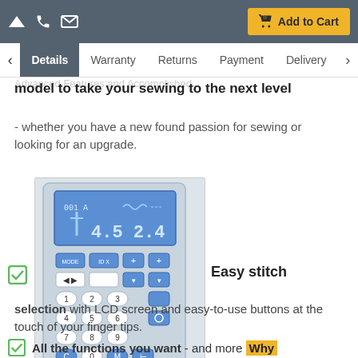Add to Cart | Details | Warranty | Returns | Payment | Delivery
model to take your sewing to the next level - whether you have a new found passion for sewing or looking for an upgrade.
[Figure (photo): Photo of a sewing machine control panel with LCD screen showing stitch settings (4.5 2.4), numeric keypad buttons 0-9, mode and function buttons, and stitch pattern display at the bottom.]
Easy stitch
selection with LCD screen and easy-to-use buttons at the touch of your finger tips.
All the functions you want - and more Why